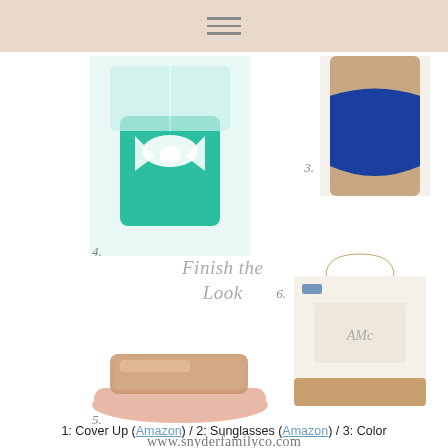[Figure (photo): Teal/mint one-piece swimsuit with white bow tie, numbered 4]
[Figure (photo): Blue high-waist bikini bottom on model, numbered 3]
Finish the Look
[Figure (photo): Rose gold metallic slide sandals, numbered 5]
[Figure (photo): Canvas and rose gold monogrammed tote bag, numbered 6]
www.snyderfamilyco.com
1: Cover Up (Amazon) / 2: Sunglasses (Amazon) / 3: Color